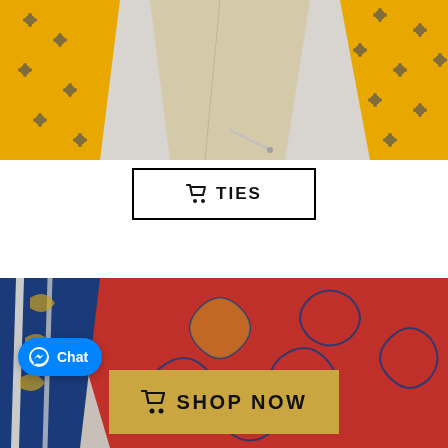[Figure (photo): Close-up photo of yellow neckties with dark floral pattern, showing the inner lining and fabric construction]
🛒 TIES
[Figure (photo): Close-up photo of a red paisley tie with navy blue and gold pattern alongside a striped tie]
🛒 SHOP NOW
Chat